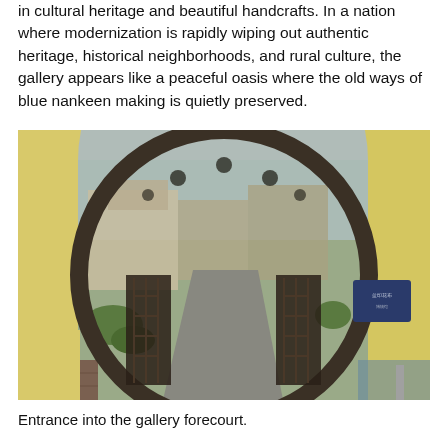in cultural heritage and beautiful handcrafts. In a nation where modernization is rapidly wiping out authentic heritage, historical neighborhoods, and rural culture, the gallery appears like a peaceful oasis where the old ways of blue nankeen making is quietly preserved.
[Figure (photo): Photograph of the entrance into a gallery forecourt, showing a large circular moon gate/archway with ornate wrought-iron gates opening onto a pathway leading to a building and garden. Yellow stucco walls flank the arch.]
Entrance into the gallery forecourt.